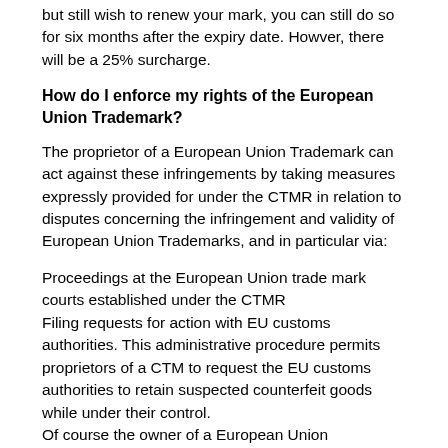but still wish to renew your mark, you can still do so for six months after the expiry date. Howver, there will be a 25% surcharge.
How do I enforce my rights of the European Union Trademark?
The proprietor of a European Union Trademark can act against these infringements by taking measures expressly provided for under the CTMR in relation to disputes concerning the infringement and validity of European Union Trademarks, and in particular via:
Proceedings at the European Union trade mark courts established under the CTMR
Filing requests for action with EU customs authorities. This administrative procedure permits proprietors of a CTM to request the EU customs authorities to retain suspected counterfeit goods while under their control.
Of course the owner of a European Union Trademark may defend the trademark against infringers through the